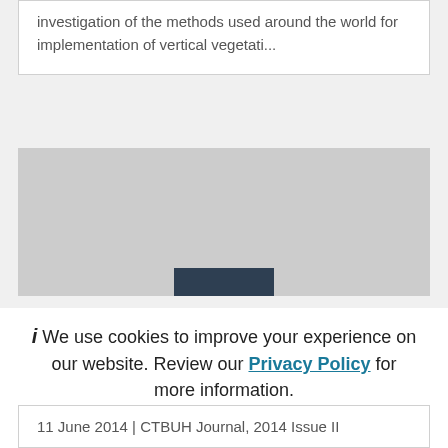investigation of the methods used around the world for implementation of vertical vegetati...
[Figure (screenshot): Gray placeholder image with a dark blue/navy rectangle centered at the bottom edge]
i We use cookies to improve your experience on our website. Review our Privacy Policy for more information.
✓ Allow cookies
11 June 2014 | CTBUH Journal, 2014 Issue II